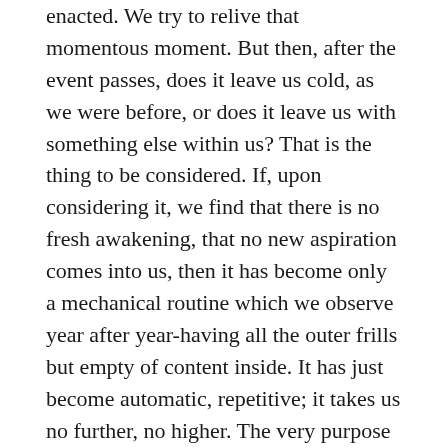enacted. We try to relive that momentous moment. But then, after the event passes, does it leave us cold, as we were before, or does it leave us with something else within us? That is the thing to be considered. If, upon considering it, we find that there is no fresh awakening, that no new aspiration comes into us, then it has become only a mechanical routine which we observe year after year-having all the outer frills but empty of content inside. It has just become automatic, repetitive; it takes us no further, no higher. The very purpose of the day has been lost. The very intention with which our ancients conceived of such recurring annual traditions would not be fulfilled; it would be lost.

Yesterday was such a day. May you understand it. May you understand the intention behind such a tradition.